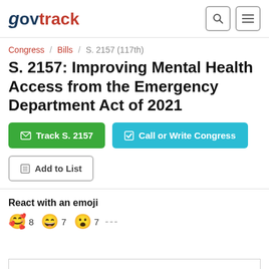govtrack
Congress / Bills / S. 2157 (117th)
S. 2157: Improving Mental Health Access from the Emergency Department Act of 2021
Track S. 2157 | Call or Write Congress | Add to List
React with an emoji
😊 8   😁 7   😮 7   ...